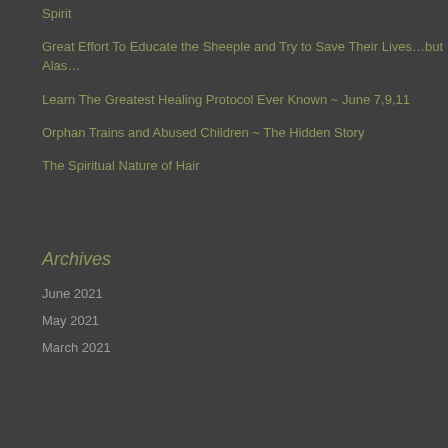Spirit
Great Effort To Educate the Sheeple and Try to Save Their Lives…but Alas…
Learn The Greatest Healing Protocol Ever Known ~ June 7,9,11
Orphan Trains and Abused Children ~ The Hidden Story
The Spiritual Nature of Hair
Archives
June 2021
May 2021
March 2021